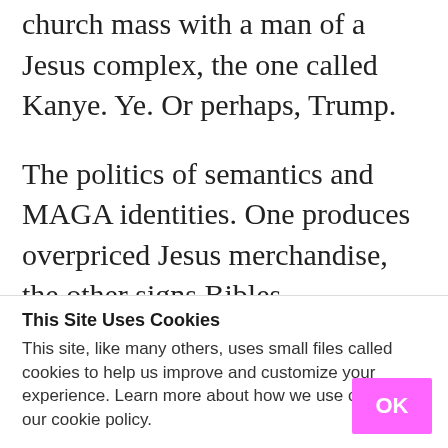church mass with a man of a Jesus complex, the one called Kanye. Ye. Or perhaps, Trump.
The politics of semantics and MAGA identities. One produces overpriced Jesus merchandise, the other signs Bibles.
This Site Uses Cookies
This site, like many others, uses small files called cookies to help us improve and customize your experience. Learn more about how we use cookies in our cookie policy.